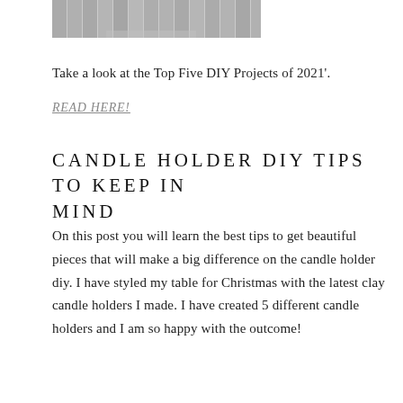[Figure (other): Grayscale vertical bar/stripe image at top of page]
Take a look at the Top Five DIY Projects of 2021'.
READ HERE!
CANDLE HOLDER DIY TIPS TO KEEP IN MIND
On this post you will learn the best tips to get beautiful pieces that will make a big difference on the candle holder diy. I have styled my table for Christmas with the latest clay candle holders I made. I have created 5 different candle holders and I am so happy with the outcome!